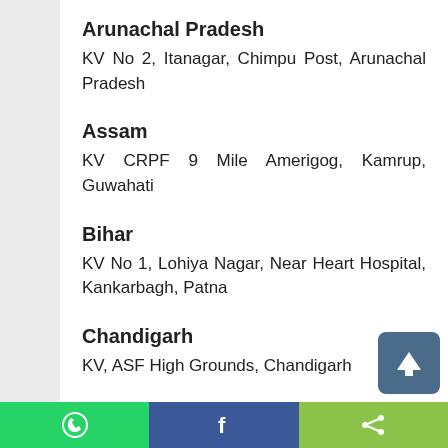Arunachal Pradesh
KV No 2, Itanagar, Chimpu Post, Arunachal Pradesh
Assam
KV CRPF 9 Mile Amerigog, Kamrup, Guwahati
Bihar
KV No 1, Lohiya Nagar, Near Heart Hospital, Kankarbagh, Patna
Chandigarh
KV, ASF High Grounds, Chandigarh
Chhattisgarh
KV No 2, Dev...